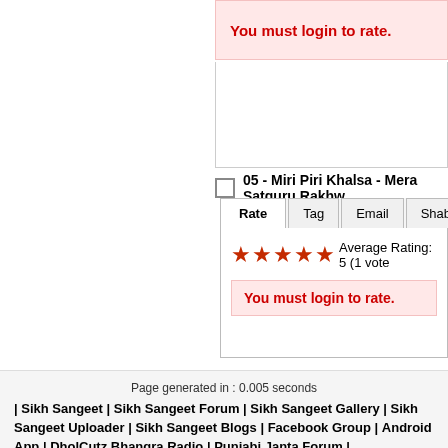You must login to rate.
05 - Miri Piri Khalsa - Mera Satguru Rakhw...
Rate | Tag | Email | Shabad
Average Rating: 5 (1 vote)
You must login to rate.
Play Selected | Select N...
SUBMIT REVIEW
Please login to submit reviews
Page generated in : 0.005 seconds
| Sikh Sangeet | Sikh Sangeet Forum | Sikh Sangeet Gallery | Sikh Sangeet Uploader | Sikh Sangeet Blogs | Facebook Group | Android App | DholCutz Bhangra Radio | Punjabi Janta Forum |